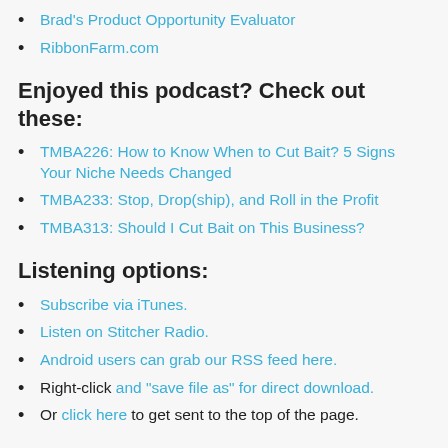Brad's Product Opportunity Evaluator
RibbonFarm.com
Enjoyed this podcast? Check out these:
TMBA226: How to Know When to Cut Bait? 5 Signs Your Niche Needs Changed
TMBA233: Stop, Drop(ship), and Roll in the Profit
TMBA313: Should I Cut Bait on This Business?
Listening options:
Subscribe via iTunes.
Listen on Stitcher Radio.
Android users can grab our RSS feed here.
Right-click and “save file as” for direct download.
Or click here to get sent to the top of the page.